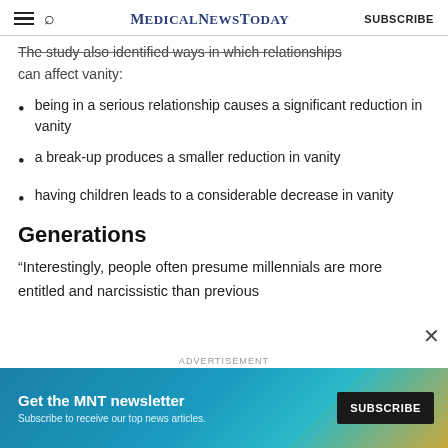MedicalNewsToday | SUBSCRIBE
The study also identified ways in which relationships can affect vanity:
being in a serious relationship causes a significant reduction in vanity
a break-up produces a smaller reduction in vanity
having children leads to a considerable decrease in vanity
Generations
“Interestingly, people often presume millennials are more entitled and narcissistic than previous
[Figure (other): MNT newsletter advertisement banner: Get the MNT newsletter. Subscribe to receive our top news articles. SUBSCRIBE button.]